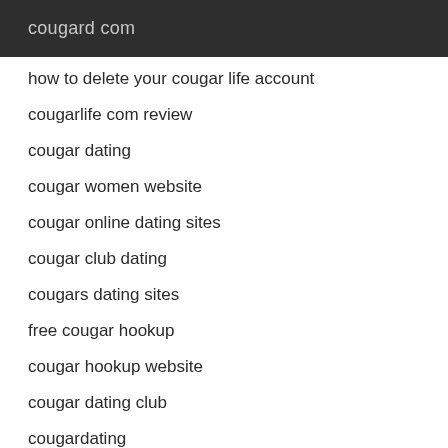cougard com
how to delete your cougar life account
cougarlife com review
cougar dating
cougar women website
cougar online dating sites
cougar club dating
cougars dating sites
free cougar hookup
cougar hookup website
cougar dating club
cougardating